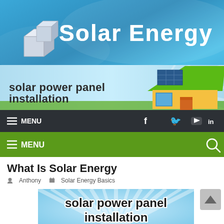[Figure (screenshot): Solar Energy website header with logo showing 3D cube/panel icon and 'Solar Energy' text in white on blue gradient background]
[Figure (screenshot): Banner image with text 'solar power panel installation' and illustration of house with solar panels on roof]
[Figure (screenshot): Dark navigation bar with hamburger menu icon, MENU text, and social media icons for Facebook, Twitter, YouTube, LinkedIn]
[Figure (screenshot): Green navigation bar with hamburger menu icon, MENU text, and search icon]
What Is Solar Energy
Anthony   Solar Energy Basics
[Figure (screenshot): Article thumbnail image with light blue sunray background and bold text 'solar power panel installation']